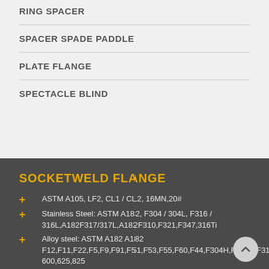RING SPACER
SPACER SPADE PADDLE
PLATE FLANGE
SPECTACLE BLIND
SOCKETWELD FLANGE
ASTM A105, LF2, CL1 / CL2, 16MN,20#
Stainless Steel: ASTM A182, F304 / 304L, F316 / 316L,A182F317/317L,A182F310,F321,F347,316Ti
Alloy steel: ASTM A182 A182 F12,F11,F22,F5,F9,F91,F51,F53,F55,F60,F44,F304H,F316H,F317H,F321H 600,625,825
Size: 1/2'-100',SCH5S-SCH160S,XS,XXS,STD